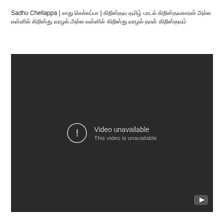Sadhu Chellappa | சாது செல்லப்பா | கிறிஸ்தவ தமிழ் பாடல் கிறிஸ்தவகாரன் அல்ல என்னில் கிறிஸ்து வாழல் அல்ல என்னில் கிறிஸ்து வாழல் தான் கிறிஸ்தவம்
[Figure (screenshot): Embedded YouTube video player showing 'Video unavailable - This video is unavailable' error message on a dark background with YouTube logo in bottom right corner.]